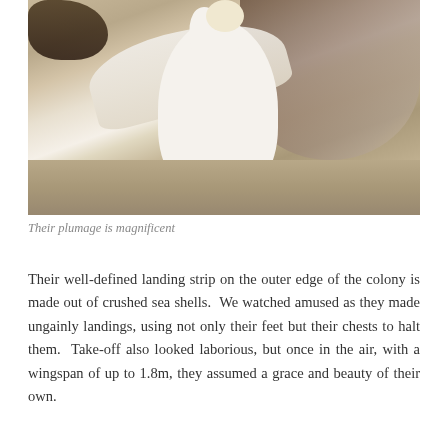[Figure (photo): A white gannet bird standing in a colony, wings partially spread, with dark wing feathers visible. The bird stands on bare sandy ground with other birds visible in the background. The bird has black legs and a yellowish head.]
Their plumage is magnificent
Their well-defined landing strip on the outer edge of the colony is made out of crushed sea shells. We watched amused as they made ungainly landings, using not only their feet but their chests to halt them. Take-off also looked laborious, but once in the air, with a wingspan of up to 1.8m, they assumed a grace and beauty of their own.